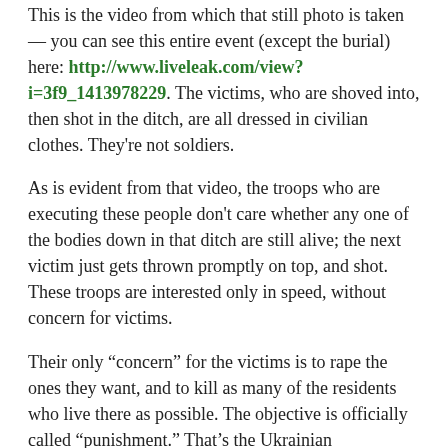This is the video from which that still photo is taken — you can see this entire event (except the burial) here: http://www.liveleak.com/view?i=3f9_1413978229. The victims, who are shoved into, then shot in the ditch, are all dressed in civilian clothes. They're not soldiers.
As is evident from that video, the troops who are executing these people don't care whether any one of the bodies down in that ditch are still alive; the next victim just gets thrown promptly on top, and shot. These troops are interested only in speed, without concern for victims.
Their only “concern” for the victims is to rape the ones they want, and to kill as many of the residents who live there as possible. The objective is officially called “punishment.” That’s the Ukrainian Government’s term. The aim is to make them suffer.
Here is how deeply immersed in hatred of “Moscals” these people are. The Ukrainians who fought on Hitler’s side in WWII are heroes to them. An American friend who happens to live in the conflict-zone, the southeast, where the “Moskals”